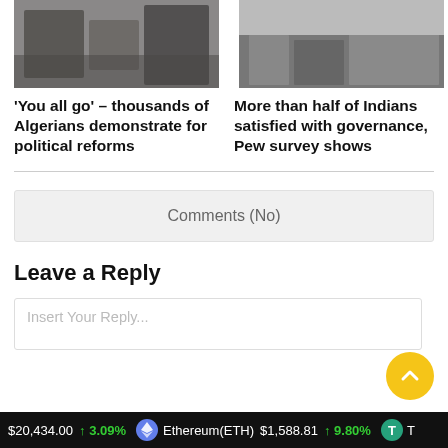[Figure (photo): Crowd of Algerians demonstrating]
[Figure (photo): Indians at ballot boxes or governance setting]
'You all go' – thousands of Algerians demonstrate for political reforms
More than half of Indians satisfied with governance, Pew survey shows
Comments (No)
Leave a Reply
Insert Your Reply...
$20,434.00  ↑ 3.09%   Ethereum(ETH) $1,588.81  ↑ 9.80%  T